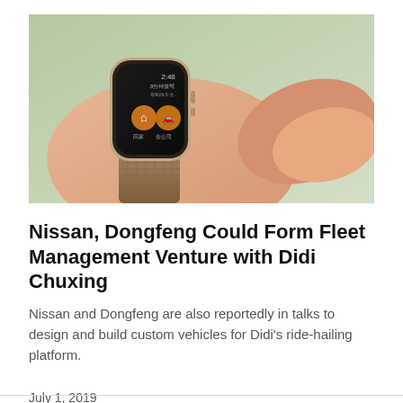[Figure (photo): A person tapping a smartwatch (Apple Watch) on their wrist showing a Chinese-language ride-hailing app interface with orange circular buttons.]
Nissan, Dongfeng Could Form Fleet Management Venture with Didi Chuxing
Nissan and Dongfeng are also reportedly in talks to design and build custom vehicles for Didi's ride-hailing platform.
July 1, 2019